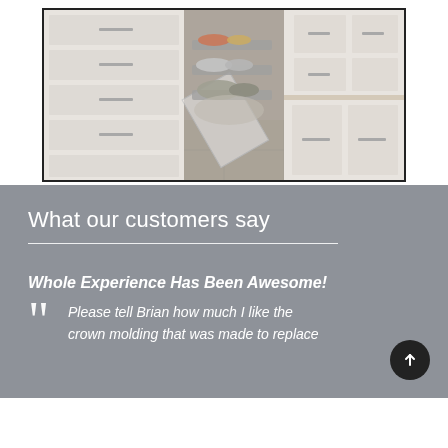[Figure (photo): Kitchen corner cabinet with open doors revealing pull-out wire shelving/lazy susan organizer, white cabinet doors with bar handles, porcelain tile floor, dishes and pots visible on shelves]
What our customers say
Whole Experience Has Been Awesome!
Please tell Brian how much I like the crown molding that was made to replace